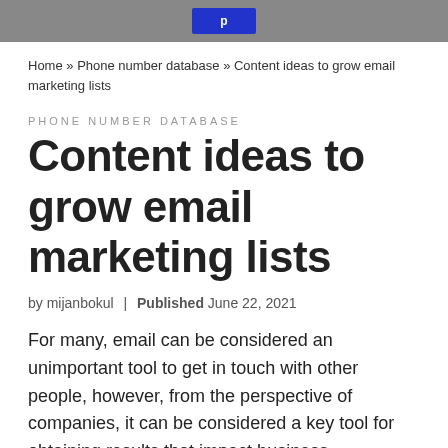Home » Phone number database » Content ideas to grow email marketing lists
PHONE NUMBER DATABASE
Content ideas to grow email marketing lists
by mijanbokul  |  Published June 22, 2021
For many, email can be considered an unimportant tool to get in touch with other people, however, from the perspective of companies, it can be considered a key tool for obtaining results that impact business